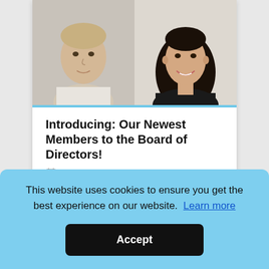[Figure (photo): Two headshot photos side by side: left is a man with short blonde hair wearing a white shirt; right is a woman with long dark hair wearing a dark top, smiling.]
Introducing: Our Newest Members to the Board of Directors!
March 16, 2017
It is with the greatest pride and satisfaction that Link's
This website uses cookies to ensure you get the best experience on our website.  Learn more
Accept